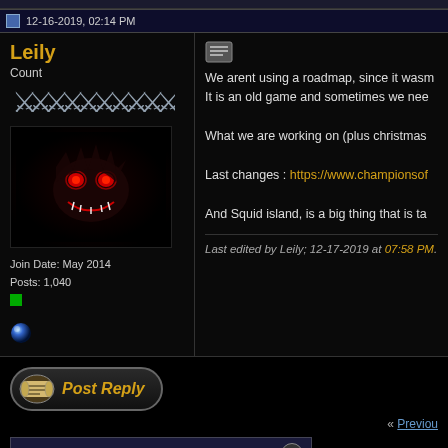12-16-2019, 02:14 PM
Leily
Count
Join Date: May 2014
Posts: 1,040
We arent using a roadmap, since it wasn't... It is an old game and sometimes we need...

What we are working on (plus christmas...

Last changes : https://www.championsof...

And Squid island, is a big thing that is ta...

Last edited by Leily; 12-17-2019 at 07:58 PM.
[Figure (illustration): Post Reply button with scroll icon]
« Previous...
Posting Rules
You may not post new threads
You may not post replies
You may not post attachments